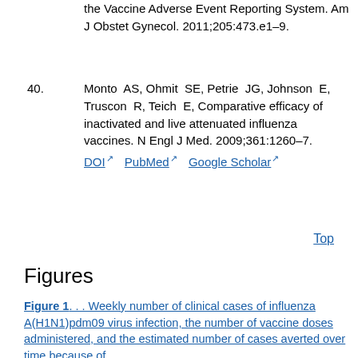the Vaccine Adverse Event Reporting System. Am J Obstet Gynecol. 2011;205:473.e1–9.
40. Monto AS, Ohmit SE, Petrie JG, Johnson E, Truscon R, Teich E, Comparative efficacy of inactivated and live attenuated influenza vaccines. N Engl J Med. 2009;361:1260–7. DOI PubMed Google Scholar
Top
Figures
Figure 1. . . Weekly number of clinical cases of influenza A(H1N1)pdm09 virus infection, the number of vaccine doses administered, and the estimated number of cases averted over time because of...
Figure 2. . . Comparison of the effects of shifting hypothetical start and end dates on the number of clinical cases prevented by the influenza A(H1N1)pdm09